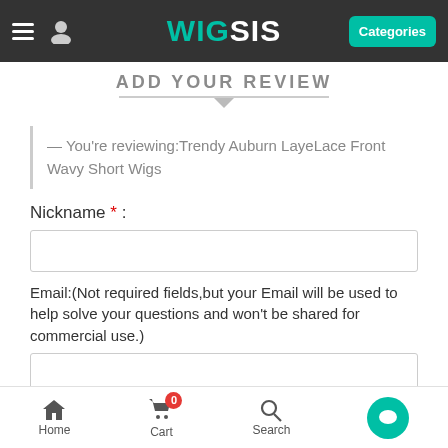WIGSIS — Categories navigation bar
ADD YOUR REVIEW
— You're reviewing:Trendy Auburn LayeLace Front Wavy Short Wigs
Nickname * :
Email:(Not required fields,but your Email will be used to help solve your questions and won't be shared for commercial use.)
Review * :
Home  Cart  Search